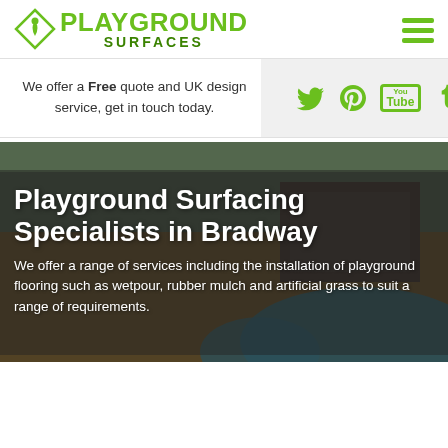[Figure (logo): Playground Surfaces logo with green diamond shape and text]
We offer a Free quote and UK design service, get in touch today.
[Figure (infographic): Social media icons: Twitter, Pinterest, YouTube, Tumblr in green on grey background]
[Figure (photo): Playground surfacing photo showing rubber mulch, blue wet pour areas and wooden structures]
Playground Surfacing Specialists in Bradway
We offer a range of services including the installation of playground flooring such as wetpour, rubber mulch and artificial grass to suit a range of requirements.